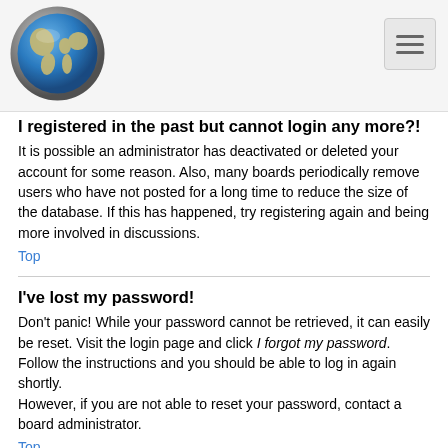[Figure (logo): Globe logo icon showing Earth with blue oceans and landmasses, with a grey metallic border ring]
[Figure (other): Hamburger menu button with three horizontal lines on a light grey background]
I registered in the past but cannot login any more?!
It is possible an administrator has deactivated or deleted your account for some reason. Also, many boards periodically remove users who have not posted for a long time to reduce the size of the database. If this has happened, try registering again and being more involved in discussions.
Top
I've lost my password!
Don't panic! While your password cannot be retrieved, it can easily be reset. Visit the login page and click I forgot my password. Follow the instructions and you should be able to log in again shortly.
However, if you are not able to reset your password, contact a board administrator.
Top
Why do I get logged off automatically?